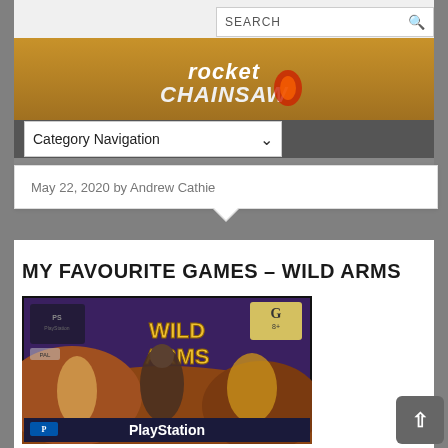SEARCH
[Figure (logo): Rocket Chainsaw website logo - stylized text with a flaming chainsaw graphic on a gold/brown banner background]
Category Navigation
May 22, 2020 by Andrew Cathie
MY FAVOURITE GAMES – WILD ARMS
[Figure (photo): Physical PlayStation game case for Wild Arms, showing the game cover art with fantasy characters and the PlayStation logo at the bottom. Rating label G8+ visible in top right corner.]